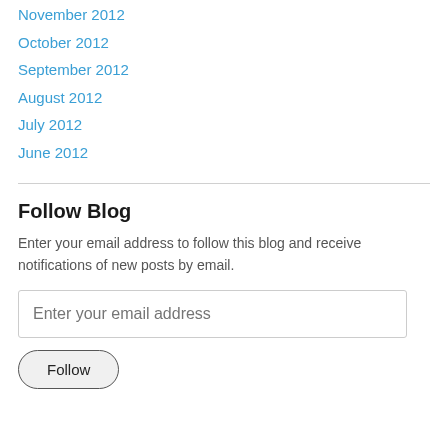November 2012
October 2012
September 2012
August 2012
July 2012
June 2012
Follow Blog
Enter your email address to follow this blog and receive notifications of new posts by email.